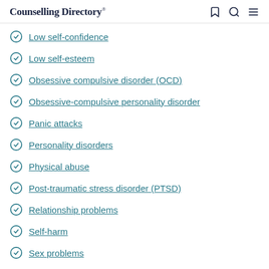Counselling Directory
Low self-confidence
Low self-esteem
Obsessive compulsive disorder (OCD)
Obsessive-compulsive personality disorder
Panic attacks
Personality disorders
Physical abuse
Post-traumatic stress disorder (PTSD)
Relationship problems
Self-harm
Sex problems